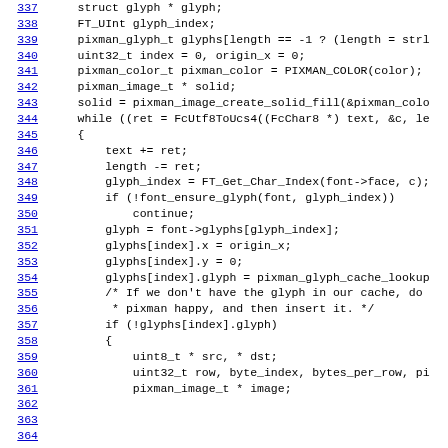[Figure (screenshot): Source code listing in monospace font showing C code for a glyph rendering function. Line numbers 337-368 are shown on the left as blue underlined links. Code includes variable declarations, pixman image creation, a while loop with FcUtf8ToUcs4, glyph index lookup, glyph cache operations, and comments.]